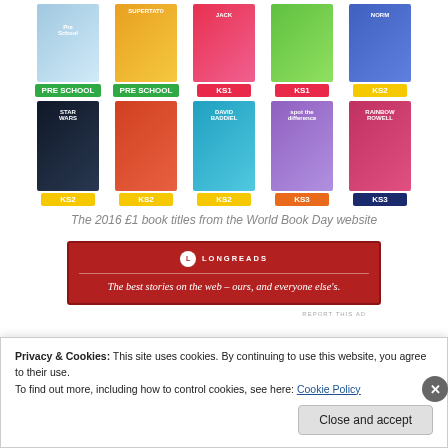[Figure (illustration): Two rows of children's book covers with age/key stage badges. Top row: 5 books with PRE SCHOOL (x2), KS1 (x2), KS2 labels. Bottom row: 5 books with KS2 (x3), KS3 (x2) labels. Titles include Star Wars, David Baddiel, Rainbow Rowell.]
The 2016 £1 book titles from the World Book Day website
[Figure (other): Longreads advertisement banner: red background with logo and tagline 'The best stories on the web – ours, and everyone else's.']
REPORT THIS AD
Privacy & Cookies: This site uses cookies. By continuing to use this website, you agree to their use.
To find out more, including how to control cookies, see here: Cookie Policy
Close and accept